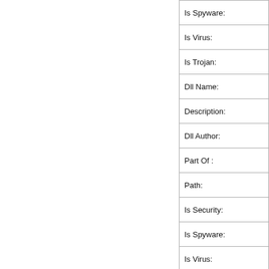| Is Spyware: |
| Is Virus: |
| Is Trojan: |
| Dll Name: |
| Description: |
| Dll Author: |
| Part Of : |
| Path: |
| Is Security: |
| Is Spyware: |
| Is Virus: |
| Is Trojan: |
| Dll Name: |
| Description: |
| Dll Author: |